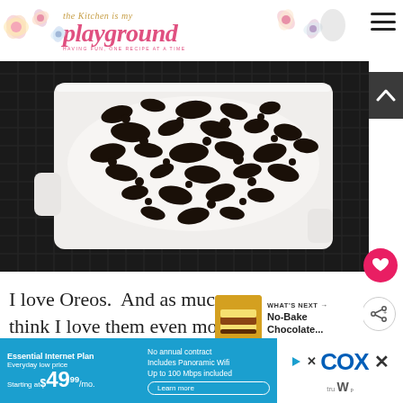the Kitchen is my playground — HAVING FUN, ONE RECIPE AT A TIME
[Figure (photo): Overhead close-up of a white rectangular baking dish topped with crumbled Oreo cookies over white cream, placed on a dark woven mat]
I love Oreos.  And as much as I love think I love them even more when they're
[Figure (photo): Small thumbnail of a No-Bake Chocolate dessert with the label WHAT'S NEXT → No-Bake Chocolate...]
[Figure (screenshot): Cox advertisement banner: Essential Internet Plan, Everyday low price, Starting at $49.99/mo. No annual contract, includes Panoramic Wifi, Up to 100 Mbps included. Learn more. COX logo.]